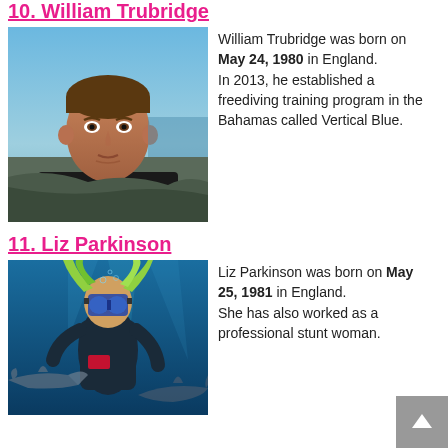10. William Trubridge
[Figure (photo): Close-up portrait photo of William Trubridge outdoors near ocean cliffs]
William Trubridge was born on May 24, 1980 in England. In 2013, he established a freediving training program in the Bahamas called Vertical Blue.
11. Liz Parkinson
[Figure (photo): Underwater photo of Liz Parkinson in diving gear with sharks visible in background]
Liz Parkinson was born on May 25, 1981 in England. She has also worked as a professional stunt woman.